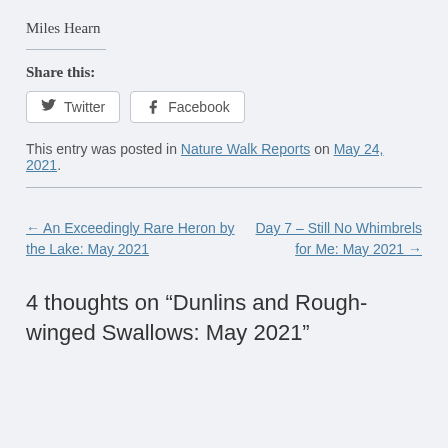Miles Hearn
Share this:
Twitter  Facebook
This entry was posted in Nature Walk Reports on May 24, 2021.
← An Exceedingly Rare Heron by the Lake: May 2021
Day 7 – Still No Whimbrels for Me: May 2021 →
4 thoughts on “Dunlins and Rough-winged Swallows: May 2021”